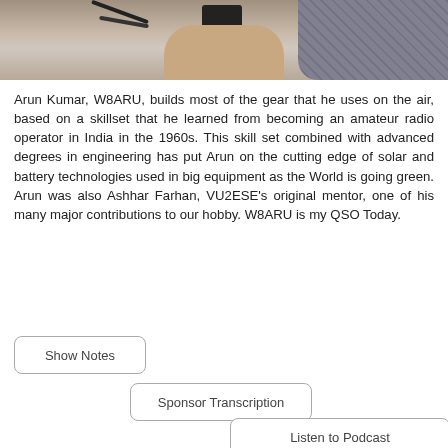[Figure (photo): Photo of Arun Kumar W8ARU working with radio equipment, hands visible holding a device with wires, wearing a patterned shirt]
Arun Kumar, W8ARU, builds most of the gear that he uses on the air, based on a skillset that he learned from becoming an amateur radio operator in India in the 1960s. This skill set combined with advanced degrees in engineering has put Arun on the cutting edge of solar and battery technologies used in big equipment as the World is going green. Arun was also Ashhar Farhan, VU2ESE's original mentor, one of his many major contributions to our hobby. W8ARU is my QSO Today.
Show Notes
Sponsor Transcription
Listen to Podcast